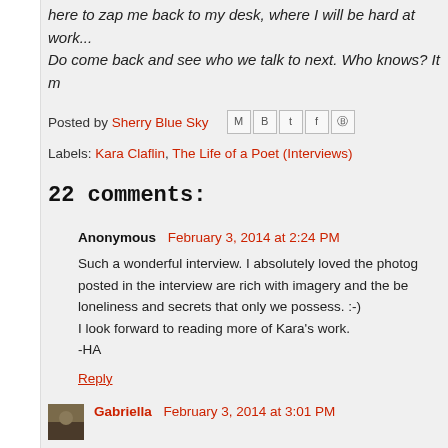here to zap me back to my desk, where I will be hard at work... Do come back and see who we talk to next. Who knows? It m
Posted by Sherry Blue Sky [share icons: M, B, t, f, Pinterest]
Labels: Kara Claflin, The Life of a Poet (Interviews)
22 comments:
Anonymous February 3, 2014 at 2:24 PM
Such a wonderful interview. I absolutely loved the photog posted in the interview are rich with imagery and the be loneliness and secrets that only we possess. :-)
I look forward to reading more of Kara's work.
-HA
Reply
Gabriella February 3, 2014 at 3:01 PM